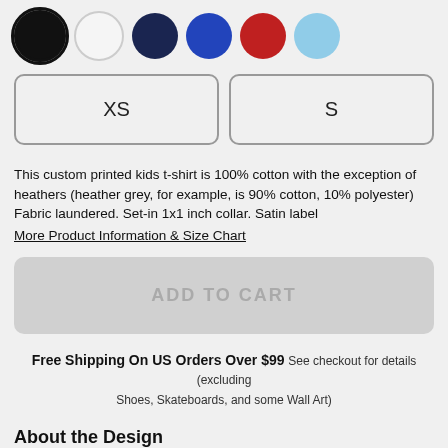[Figure (illustration): Six color swatches displayed as circles: black (selected, with ring), white, navy, blue, red, light blue]
[Figure (other): Two size selection buttons: XS and S]
This custom printed kids t-shirt is 100% cotton with the exception of heathers (heather grey, for example, is 90% cotton, 10% polyester) Fabric laundered. Set-in 1x1 inch collar. Satin label
More Product Information & Size Chart
[Figure (other): ADD TO CART button (greyed out/disabled)]
Free Shipping On US Orders Over $99 See checkout for details (excluding Shoes, Skateboards, and some Wall Art)
About the Design
Express who you are to represent what you are - your Ego is Unique!
Product Information & Size Chart    Return Policy